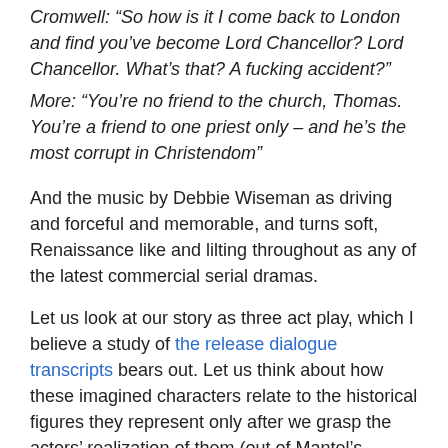Cromwell: “So how is it I come back to London and find you’ve become Lord Chancellor? Lord Chancellor. What’s that? A fucking accident?”
More: “You’re no friend to the church, Thomas. You’re a friend to one priest only – and he’s the most corrupt in Christendom”
And the music by Debbie Wiseman as driving and forceful and memorable, and turns soft, Renaissance like and lilting throughout as any of the latest commercial serial dramas.
Let us look at our story as three act play, which I believe a study of the release dialogue transcripts bears out. Let us think about how these imagined characters relate to the historical figures they represent only after we grasp the actors’ realization of them (out of Mantel’s characters and